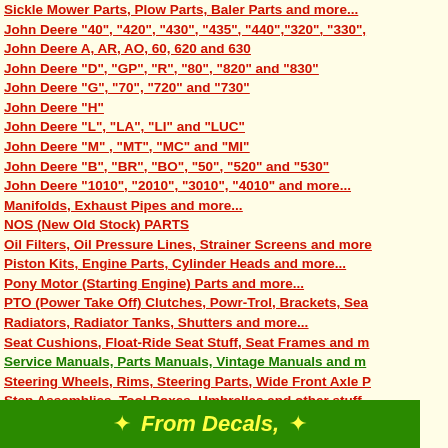Sickle Mower Parts, Plow Parts, Baler Parts and more...
John Deere "40", "420", "430", "435", "440","320", "330",
John Deere A, AR, AO, 60, 620 and 630
John Deere "D", "GP", "R", "80", "820" and "830"
John Deere "G", "70", "720" and "730"
John Deere "H"
John Deere "L", "LA", "LI" and "LUC"
John Deere "M" , "MT", "MC" and "MI"
John Deere "B", "BR", "BO", "50", "520" and "530"
John Deere "1010", "2010", "3010", "4010" and more...
Manifolds, Exhaust Pipes and more...
NOS (New Old Stock) PARTS
Oil Filters, Oil Pressure Lines, Strainer Screens and more
Piston Kits, Engine Parts, Cylinder Heads and more...
Pony Motor (Starting Engine) Parts and more...
PTO (Power Take Off) Clutches, Powr-Trol, Brackets, Sea
Radiators, Radiator Tanks, Shutters and more...
Seat Cushions, Float-Ride Seat Stuff, Seat Frames and m
Service Manuals, Parts Manuals, Vintage Manuals and m
Steering Wheels, Rims, Steering Parts, Wide Front Axle P
Step Assemblies, Tool Boxes, Umbrellas and other stuff
Water Pipes, Water Pumps, Thermostats and more...
Tires, Wheels, Hubs, Wheel Weights, Wheel Bearing Kits
[Figure (other): Green banner with yellow star decorations and italic yellow text reading 'From Decals,']